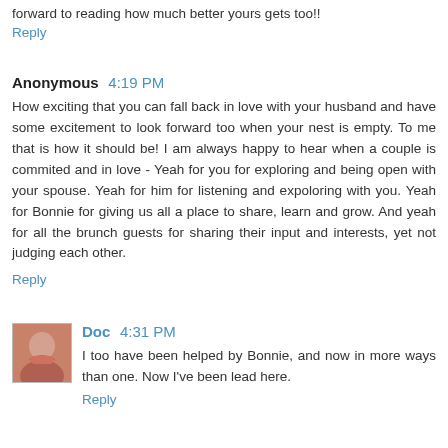forward to reading how much better yours gets too!!
Reply
Anonymous 4:19 PM
How exciting that you can fall back in love with your husband and have some excitement to look forward too when your nest is empty. To me that is how it should be! I am always happy to hear when a couple is commited and in love - Yeah for you for exploring and being open with your spouse. Yeah for him for listening and expoloring with you. Yeah for Bonnie for giving us all a place to share, learn and grow. And yeah for all the brunch guests for sharing their input and interests, yet not judging each other.
Reply
Doc 4:31 PM
I too have been helped by Bonnie, and now in more ways than one. Now I've been lead here.
Reply